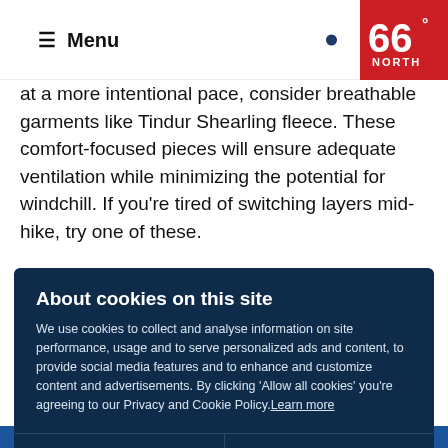≡ Menu
[Figure (logo): 66° NORTH logo in red box]
at a more intentional pace, consider breathable garments like Tindur Shearling fleece. These comfort-focused pieces will ensure adequate ventilation while minimizing the potential for windchill. If you're tired of switching layers mid-hike, try one of these.
About cookies on this site
We use cookies to collect and analyse information on site performance, usage and to serve personalized ads and content, to provide social media features and to enhance and customize content and advertisements. By clicking 'Allow all cookies' you're agreeing to our Privacy and Cookie Policy.Learn more
Allow all cookies
Cookie settings